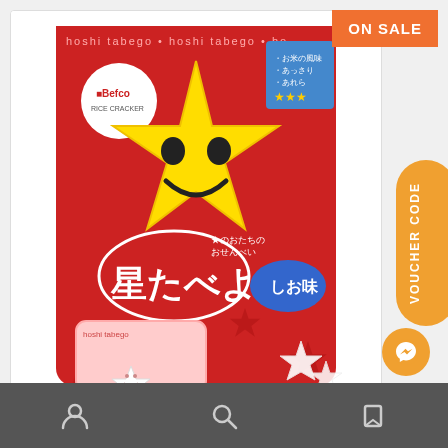[Figure (photo): Product photo of Befco Hoshi Tabeyо (星たべよ) star-shaped rice crackers in a red bag with a large yellow star character mascot with a smiley face. The Befco logo is visible on the bag. Small star-shaped crackers visible at the bottom of the bag. Blue circle label reading しお (salt flavor). Pink inner bag visible.]
ON SALE
VOUCHER CODE
Navigation bar with person icon, search icon, and share icon